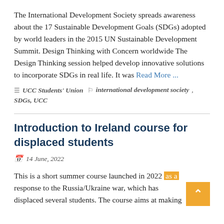The International Development Society spreads awareness about the 17 Sustainable Development Goals (SDGs) adopted by world leaders in the 2015 UN Sustainable Development Summit. Design Thinking with Concern worldwide The Design Thinking session helped develop innovative solutions to incorporate SDGs in real life. It was Read More ...
UCC Students' Union   international development society, SDGs, UCC
Introduction to Ireland course for displaced students
14 June, 2022
This is a short summer course launched in 2022 as a response to the Russia/Ukraine war, which has displaced several students. The course aims at making